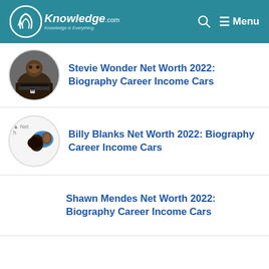AKnowledge.com — Knowledge is Everything | Menu
Stevie Wonder Net Worth 2022: Biography Career Income Cars
Billy Blanks Net Worth 2022: Biography Career Income Cars
Shawn Mendes Net Worth 2022: Biography Career Income Cars